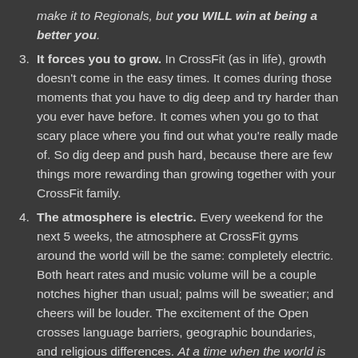make it to Regionals, but you WILL win at being a better you.
It forces you to grow. In CrossFit (as in life), growth doesn't come in the easy times. It comes during those moments that you have to dig deep and try harder than you ever have before. It comes when you go to that scary place where you find out what you're really made of. So dig deep and push hard, because there are few things more rewarding than growing together with your CrossFit family.
The atmosphere is electric. Every weekend for the next 5 weeks, the atmosphere at CrossFit gyms around the world will be the same: completely electric. Both heart rates and music volume will be a couple notches higher than usual; palms will be sweatier; and cheers will be louder. The excitement of the Open crosses language barriers, geographic boundaries, and religious differences. At a time when the world is so broken and divided, you don't